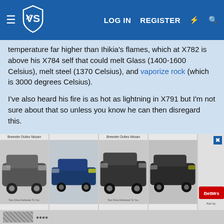VS (logo) | LOG IN | REGISTER
temperature far higher than Ihikia's flames, which at X782 is above his X784 self that could melt Glass (1400-1600 Celsius), melt steel (1370 Celsius), and vaporize rock (which is 3000 degrees Celsius).
I've also heard his fire is as hot as lightning in X791 but I'm not sure about that so unless you know he can then disregard this.
But anyways, if the lake vaporization and Ignia vaporization calcs were greatly amped due to the unordinarily high heat, why not Silver freezing the Eternal Flame?
[Figure (screenshot): Advertisement banner showing four car images (SUV, sedan, large SUV, minivan) with a close button]